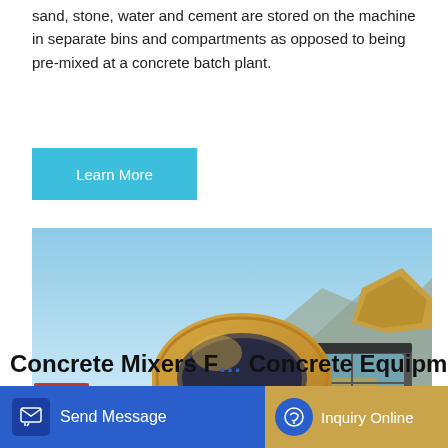sand, stone, water and cement are stored on the machine in separate bins and compartments as opposed to being pre-mixed at a concrete batch plant.
[Figure (other): A cyan/teal 'Learn More' button]
[Figure (photo): A yellow self-loading concrete mixer truck parked on a paved surface with mountains and clear sky in the background. The truck has a large rotating drum, cab on the right side, and four large wheels with yellow rims.]
Concrete Mixers F... Concrete Equipment For Sale
[Figure (other): Bottom navigation bar with 'Send Message' button on blue background and 'Inquiry Online' button on gold/yellow background]